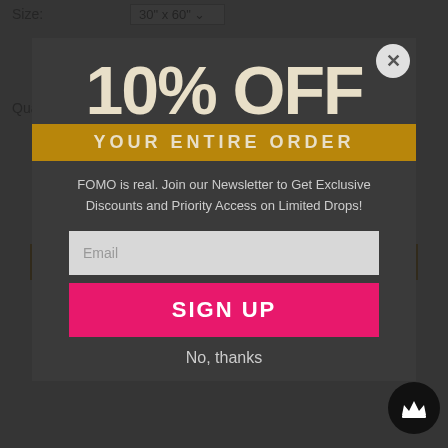Size:   30" x 60"
Quantity   1
[Figure (screenshot): E-commerce product page screenshot showing size selector (30" x 60"), quantity (1), Add to Cart button, and product description section for Murray's Karate Club towel from Clinon, with text about absorbent Bath and Beach Towels printed in the USA]
10% OFF
YOUR ENTIRE ORDER
FOMO is real. Join our Newsletter to Get Exclusive Discounts and Priority Access on Limited Drops!
Email
SIGN UP
No, thanks